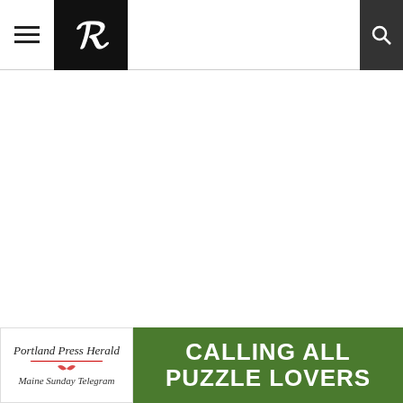Portland Press Herald navigation bar with hamburger menu, P logo, and search icon
DAILY HEADLINES
Sign up and get the top stories to begin the day delivered to your inbox at 5 a.m.
[Figure (screenshot): Email address input field (form element)]
[Figure (screenshot): SUBMIT button (form element)]
[Figure (infographic): Portland Press Herald / Maine Sunday Telegram advertisement: CALLING ALL PUZZLE LOVERS]